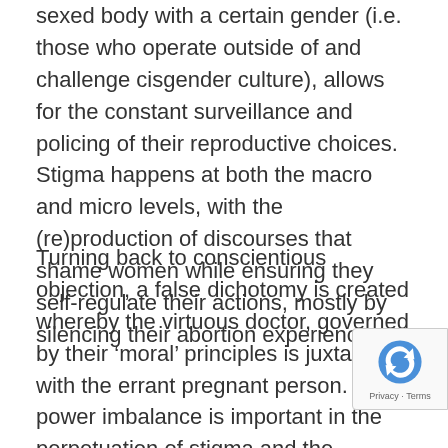sexed body with a certain gender (i.e. those who operate outside of and challenge cisgender culture), allows for the constant surveillance and policing of their reproductive choices. Stigma happens at both the macro and micro levels, with the (re)production of discourses that shame women while ensuring they self-regulate their actions, mostly by silencing their abortion experiences.
Turning back to conscientious objection, a false dichotomy is created whereby the virtuous doctor, governed by their ‘moral’ principles is juxtaposed with the errant pregnant person. This power imbalance is important in the perpetuation of stigma and the associate of